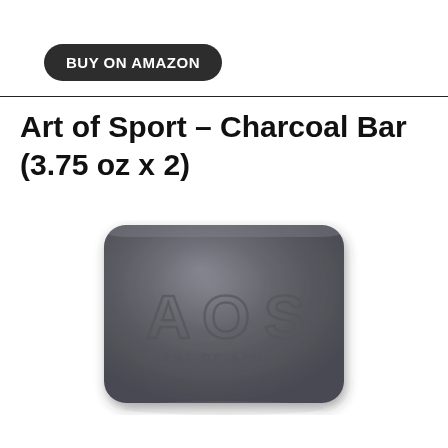BUY ON AMAZON
Art of Sport – Charcoal Bar (3.75 oz x 2)
[Figure (photo): A dark charcoal grey rectangular bar of soap with rounded corners, embossed with 'AOS' in large letters and 'ART OF SPORT' below it, shown against a white background with a slight reflection underneath.]